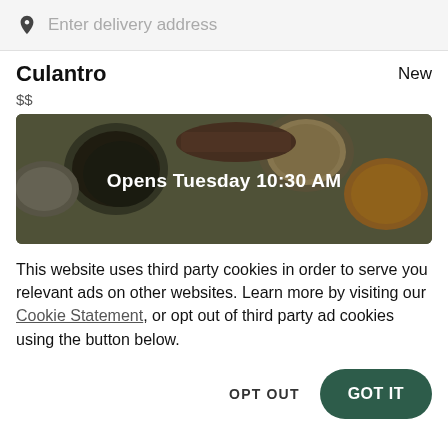Enter delivery address
Culantro
New
$$
[Figure (photo): Overhead view of various food bowls and dishes with dark overlay showing 'Opens Tuesday 10:30 AM']
This website uses third party cookies in order to serve you relevant ads on other websites. Learn more by visiting our Cookie Statement, or opt out of third party ad cookies using the button below.
OPT OUT
GOT IT